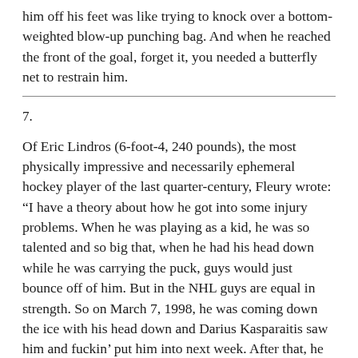him off his feet was like trying to knock over a bottom-weighted blow-up punching bag. And when he reached the front of the goal, forget it, you needed a butterfly net to restrain him.
7.
Of Eric Lindros (6-foot-4, 240 pounds), the most physically impressive and necessarily ephemeral hockey player of the last quarter-century, Fleury wrote: “I have a theory about how he got into some injury problems. When he was playing as a kid, he was so talented and so big that, when he had his head down while he was carrying the puck, guys would just bounce off of him. But in the NHL guys are equal in strength. So on March 7, 1998, he was coming down the ice with his head down and Darius Kasparaitis saw him and fuckin’ put him into next week. After that, he was vulnerable. And yet he didn’t lose the habit — he continued to skate with his head down. I never understood why. A guy my size was forced to skate with my head up or be killed.”